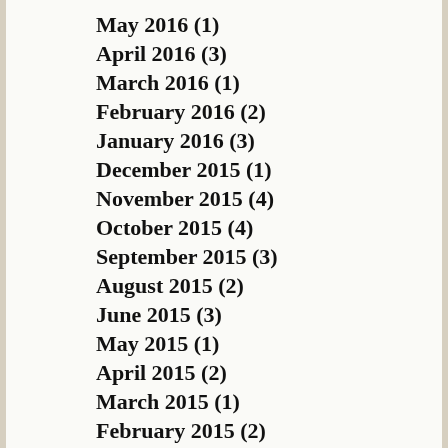May 2016 (1)
April 2016 (3)
March 2016 (1)
February 2016 (2)
January 2016 (3)
December 2015 (1)
November 2015 (4)
October 2015 (4)
September 2015 (3)
August 2015 (2)
June 2015 (3)
May 2015 (1)
April 2015 (2)
March 2015 (1)
February 2015 (2)
January 2015 (2)
December 2014 (8)
November 2014 (5)
October 2014 (1)